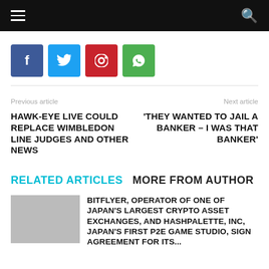Navigation bar with hamburger menu and search icon
[Figure (other): Social share buttons: Facebook (blue), Twitter (light blue), Pinterest (red), WhatsApp (green)]
Previous article
HAWK-EYE LIVE COULD REPLACE WIMBLEDON LINE JUDGES AND OTHER NEWS
Next article
'THEY WANTED TO JAIL A BANKER – I WAS THAT BANKER'
RELATED ARTICLES   MORE FROM AUTHOR
BITFLYER, OPERATOR OF ONE OF JAPAN'S LARGEST CRYPTO ASSET EXCHANGES, AND HASHPALETTE, INC, JAPAN'S FIRST P2E GAME STUDIO, SIGN AGREEMENT FOR ITS...